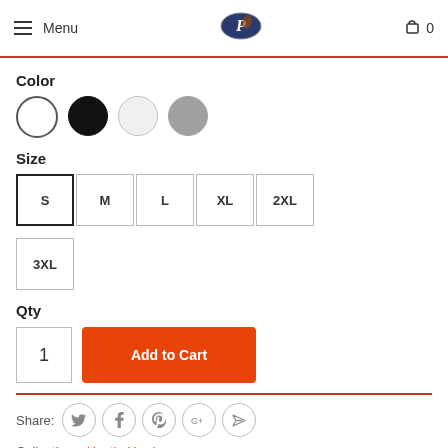Menu | Logo | Cart 0
Color
[Figure (other): Four color swatch circles: white (selected), black, white/light, gray]
Size
[Figure (other): Size selector buttons: S (selected), M, L, XL, 2XL, 3XL]
Qty
[Figure (other): Quantity input showing 1 and Add to Cart orange button]
Share:
[Figure (other): Social share icons: Twitter, Facebook, Pinterest, Google+, direct message]
Collections: Hustle Harder